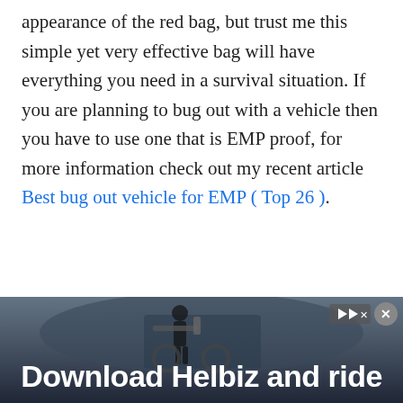appearance of the red bag, but trust me this simple yet very effective bag will have everything you need in a survival situation. If you are planning to bug out with a vehicle then you have to use one that is EMP proof, for more information check out my recent article Best bug out vehicle for EMP ( Top 26 ).
What is included?
[Figure (photo): Advertisement banner showing a person with a vehicle/scooter in dark background, with text 'Download Helbiz and ride' and an ad close button]